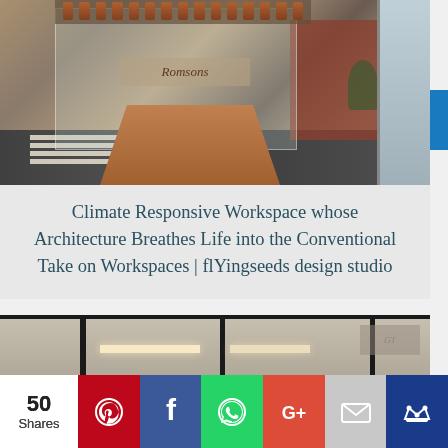[Figure (photo): Interior photo of a building lobby/workspace with a conical copper reception desk, glass facade, hanging copper cylindrical pieces at top, brick wall on right, and geometric black-and-white floor pattern]
Climate Responsive Workspace whose Architecture Breathes Life into the Conventional Take on Workspaces | flYingseeds design studio
[Figure (photo): Interior photo of a workspace/office showing ceiling with dark wooden beams on light panels, linear LED lighting strips, and wooden slatted wall panel on the right side]
50 Shares
[Figure (infographic): Social sharing bar with Pinterest, Facebook, WhatsApp, Google+, Email, and crown/bookmark icons]